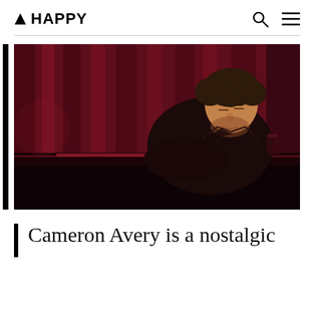▲ HAPPY
[Figure (photo): A man with dark hair and beard, wearing a dark open-collared shirt, leans over a grand piano with a deep red curtain backdrop and dramatic red lighting. A glass is visible on the piano.]
Cameron Avery is a nostalgic